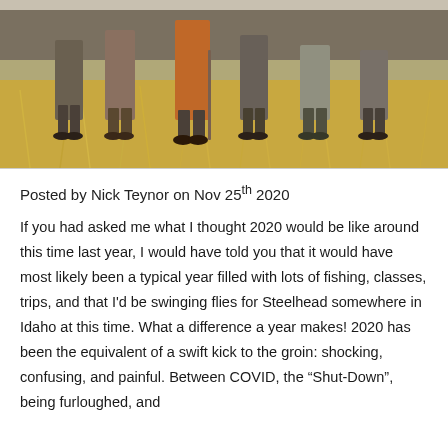[Figure (photo): Outdoor group photo of several people standing on dry grassy/rocky terrain, photographed from above angle showing their lower bodies and feet, dry golden grass in background]
Posted by Nick Teynor on Nov 25th 2020
If you had asked me what I thought 2020 would be like around this time last year, I would have told you that it would have most likely been a typical year filled with lots of fishing, classes, trips, and that I'd be swinging flies for Steelhead somewhere in Idaho at this time. What a difference a year makes! 2020 has been the equivalent of a swift kick to the groin: shocking, confusing, and painful. Between COVID, the “Shut-Down”, being furloughed, and